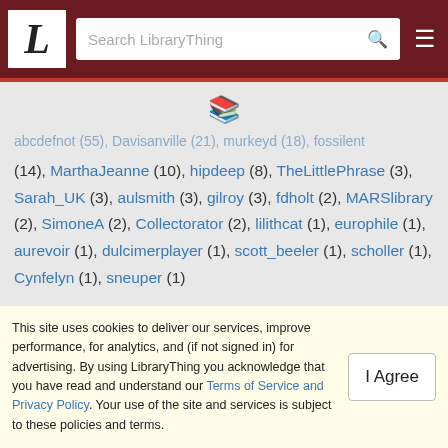LibraryThing — Search LibraryThing header with logo and navigation
…(14), MarthaJeanne (10), hipdeep (8), TheLittlePhrase (3), Sarah_UK (3), aulsmith (3), gilroy (3), fdholt (2), MARSlibrary (2), SimoneA (2), Collectorator (2), lilithcat (1), europhile (1), aurevoir (1), dulcimerplayer (1), scott_beeler (1), scholler (1), Cynfelyn (1), sneuper (1)
This site uses cookies to deliver our services, improve performance, for analytics, and (if not signed in) for advertising. By using LibraryThing you acknowledge that you have read and understand our Terms of Service and Privacy Policy. Your use of the site and services is subject to these policies and terms.